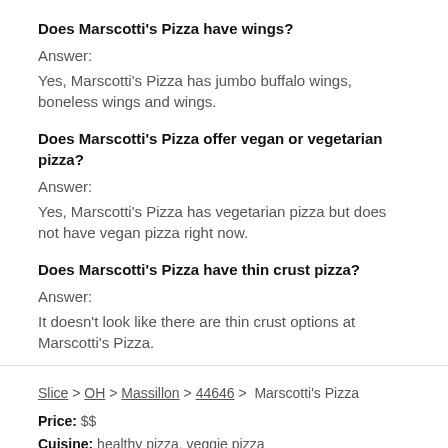Does Marscotti's Pizza have wings?
Answer:
Yes, Marscotti's Pizza has jumbo buffalo wings, boneless wings and wings.
Does Marscotti's Pizza offer vegan or vegetarian pizza?
Answer:
Yes, Marscotti's Pizza has vegetarian pizza but does not have vegan pizza right now.
Does Marscotti's Pizza have thin crust pizza?
Answer:
It doesn't look like there are thin crust options at Marscotti's Pizza.
Slice > OH > Massillon > 44646 > Marscotti's Pizza
Price: $$
Cuisine: healthy pizza, veggie pizza